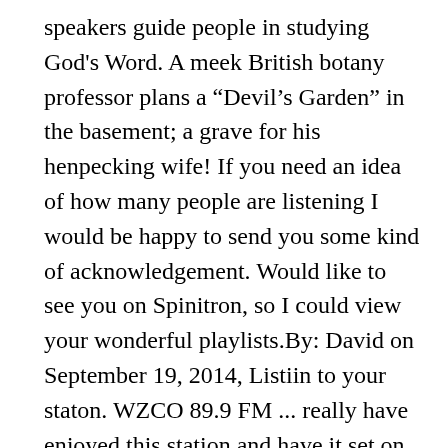speakers guide people in studying God's Word. A meek British botany professor plans a “Devil’s Garden” in the basement; a grave for his henpecking wife! If you need an idea of how many people are listening I would be happy to send you some kind of acknowledgement. Would like to see you on Spinitron, so I could view your wonderful playlists.By: David on September 19, 2014, Listiin to your staton. WZCO 89.9 FM ... really have enjoyed this station and have it set on all our radioes,we especially like the Saturday bluegrass music and Christmas music was the absolute best on the air. By: Kay Warner on October 30, 2013, WOW. Yes, I’m 38 yrs old. 00:00. Would to do a